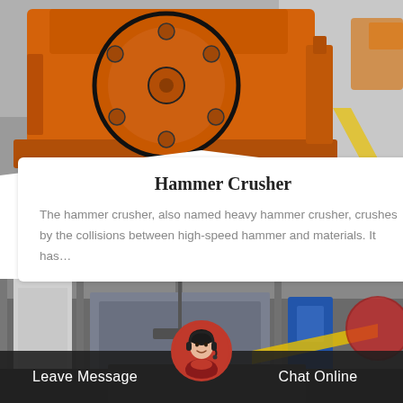[Figure (photo): Orange heavy hammer crusher machine photographed in an industrial/factory setting. The crusher has a large circular disc/flywheel with bolt holes visible on the front face, painted orange. Background shows factory floor with orange and grey machinery.]
Hammer Crusher
The hammer crusher, also named heavy hammer crusher, crushes by the collisions between high-speed hammer and materials. It has…
[Figure (photo): Industrial factory interior showing heavy machinery and equipment. Grey structural columns, yellow and blue equipment visible, industrial ceiling with beams.]
Leave Message
Chat Online